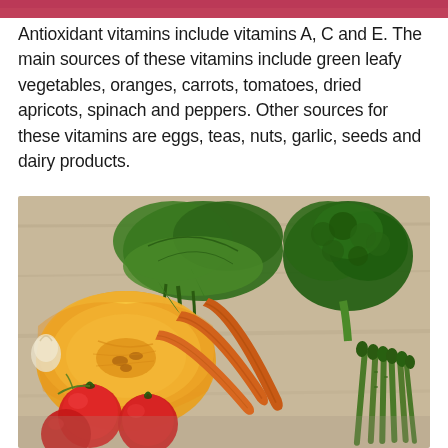[Figure (photo): Partial view of a food/health photo strip at the very top of the page]
Antioxidant vitamins include vitamins A, C and E. The main sources of these vitamins include green leafy vegetables, oranges, carrots, tomatoes, dried apricots, spinach and peppers. Other sources for these vitamins are eggs, teas, nuts, garlic, seeds and dairy products.
[Figure (photo): Photo of assorted vegetables including leafy greens, broccoli, carrots, squash/pumpkin cut in half, tomatoes, and asparagus arranged on a wooden surface.]